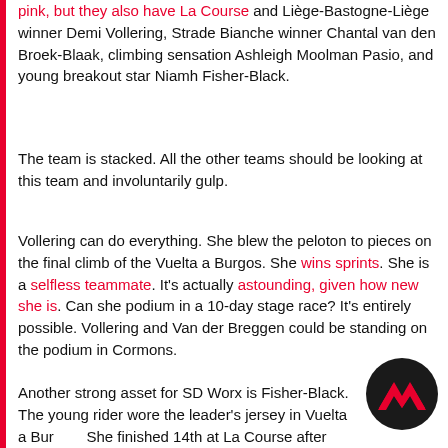pink, but they also have La Course and Liège-Bastogne-Liège winner Demi Vollering, Strade Bianche winner Chantal van den Broek-Blaak, climbing sensation Ashleigh Moolman Pasio, and young breakout star Niamh Fisher-Black.
The team is stacked. All the other teams should be looking at this team and involuntarily gulp.
Vollering can do everything. She blew the peloton to pieces on the final climb of the Vuelta a Burgos. She wins sprints. She is a selfless teammate. It's actually astounding, given how new she is. Can she podium in a 10-day stage race? It's entirely possible. Vollering and Van der Breggen could be standing on the podium in Cormons.
Another strong asset for SD Worx is Fisher-Black. The young rider wore the leader's jersey in Vuelta a Burgos. She finished 14th at La Course after landing in the breakaway of the day and then pushing the peloton on the climb. Fisher-Black is one of the future, and with the...
[Figure (logo): SD Worx team logo — black circle with red chevron/mountain shape]